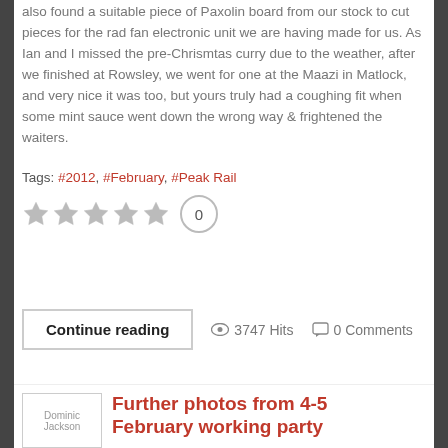also found a suitable piece of Paxolin board from our stock to cut pieces for the rad fan electronic unit we are having made for us. As Ian and I missed the pre-Chrismtas curry due to the weather, after we finished at Rowsley, we went for one at the Maazi in Matlock, and very nice it was too, but yours truly had a coughing fit when some mint sauce went down the wrong way & frightened the waiters.
Tags: #2012, #February, #Peak Rail
[Figure (other): Five star rating icons (greyed out) with a vote count of 0 in a circle]
Continue reading  👁 3747 Hits  💬 0 Comments
Further photos from 4-5 February working party